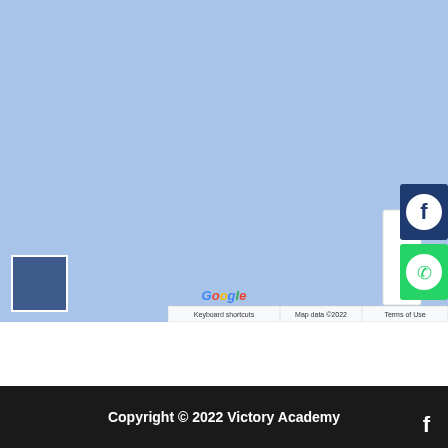[Figure (map): Google Maps embed showing a light blue map area with a small dark blue thumbnail square in the lower left corner. Google logo visible at bottom center. Map data attribution bar at bottom with 'Keyboard shortcuts', 'Map data ©2022', and 'Terms of Use'. Facebook and WhatsApp social share buttons on the right edge.]
Copyright © 2022 Victory Academy